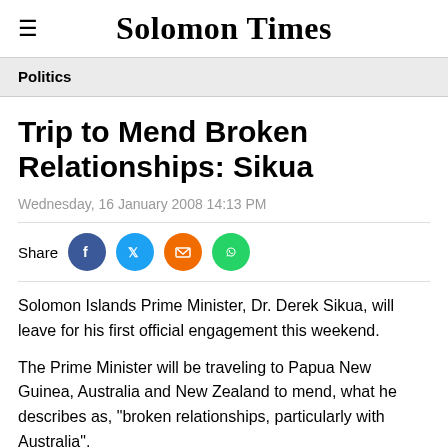Solomon Times
Politics
Trip to Mend Broken Relationships: Sikua
Wednesday, 16 January 2008 14:13 PM
Share
Solomon Islands Prime Minister, Dr. Derek Sikua, will leave for his first official engagement this weekend.
The Prime Minister will be traveling to Papua New Guinea, Australia and New Zealand to mend, what he describes as, "broken relationships, particularly with Australia".